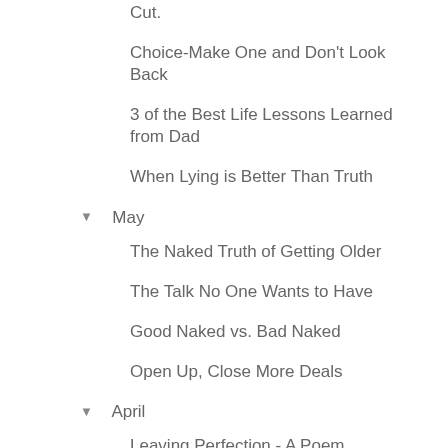Cut.
Choice-Make One and Don't Look Back
3 of the Best Life Lessons Learned from Dad
When Lying is Better Than Truth
▼  May
The Naked Truth of Getting Older
The Talk No One Wants to Have
Good Naked vs. Bad Naked
Open Up, Close More Deals
▼  April
Leaving Perfection - A Poem